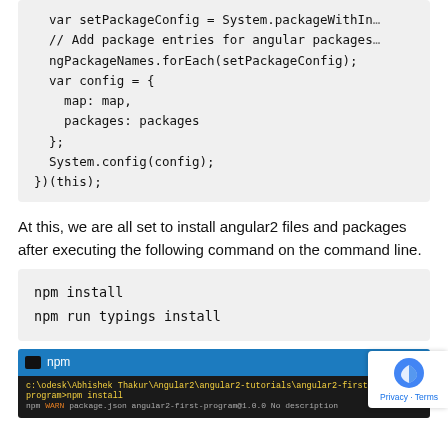var setPackageConfig = System.packageWithIn...
// Add package entries for angular packages
ngPackageNames.forEach(setPackageConfig);
var config = {
    map: map,
    packages: packages
};
System.config(config);
})(this);
At this, we are all set to install angular2 files and packages after executing the following command on the command line.
npm install
npm run typings install
[Figure (screenshot): Terminal/command prompt window showing npm install command being run, with path: c:\odesk\Abhishek Thakur\Angular2\angular2-tutorials\angular2-first-program>npm install]